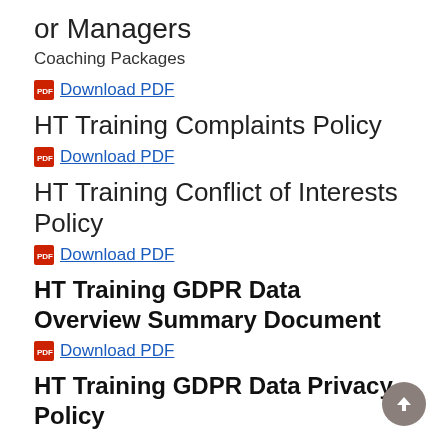or Managers
Coaching Packages
Download PDF
HT Training Complaints Policy
Download PDF
HT Training Conflict of Interests Policy
Download PDF
HT Training GDPR Data Overview Summary Document
Download PDF
HT Training GDPR Data Privacy Policy